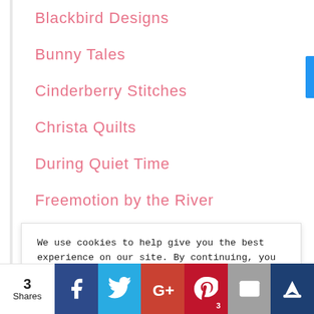Blackbird Designs
Bunny Tales
Cinderberry Stitches
Christa Quilts
During Quiet Time
Freemotion by the River
Fresh Figs - Fig Tree Quilts
Gail Pan Designs
Hatched and Patched
We use cookies to help give you the best experience on our site. By continuing, you agree to our use of cookies. You can read our full privacy policy, with details on how we use your personal data, by clicking on the following link. Privacy and Cookie Policy
3 Shares